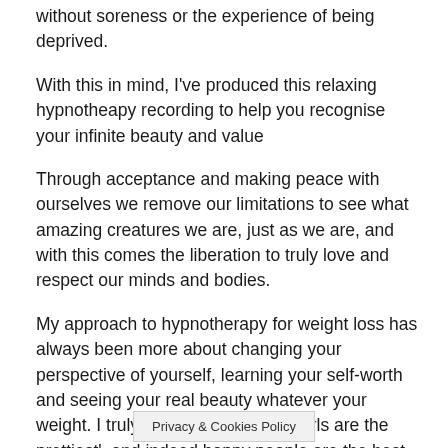without soreness or the experience of being deprived.
With this in mind, I've produced this relaxing hypnotheapy recording to help you recognise your infinite beauty and value
Through acceptance and making peace with ourselves we remove our limitations to see what amazing creatures we are, just as we are, and with this comes the liberation to truly love and respect our minds and bodies.
My approach to hypnotherapy for weight loss has always been more about changing your perspective of yourself, learning your self-worth and seeing your real beauty whatever your weight. I truly believe that 'Happy girls are the prettiest', and indeed happy people are the best looking, because we can often sense the ease in which they inhabit their natural
Privacy & Cookies Policy